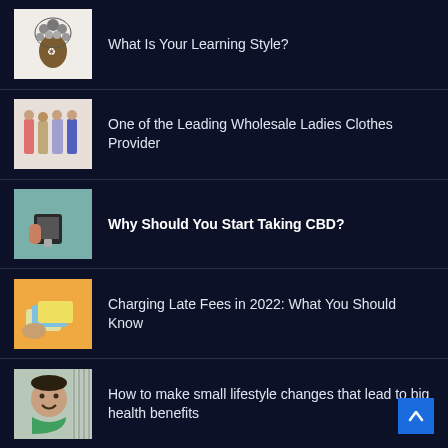What Is Your Learning Style?
One of the Leading Wholesale Ladies Clothes Provider
Why Should You Start Taking CBD?
Charging Late Fees in 2022: What You Should Know
How to make small lifestyle changes that lead to big health benefits